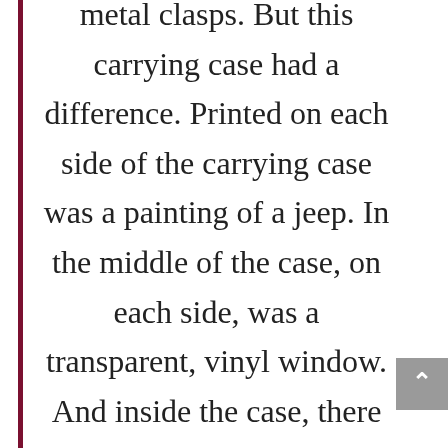metal clasps. But this carrying case had a difference. Printed on each side of the carrying case was a painting of a jeep. In the middle of the case, on each side, was a transparent, vinyl window. And inside the case, there was a little shelf where you could seat your action